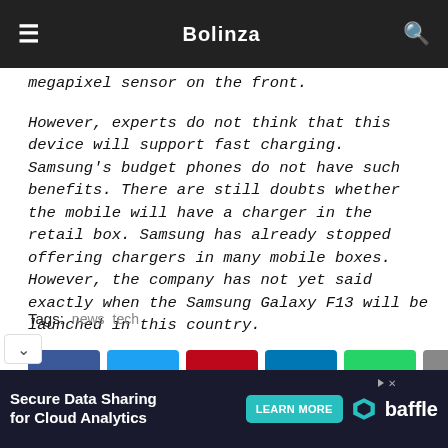Bolinza
megapixel sensor on the front.
However, experts do not think that this device will support fast charging. Samsung's budget phones do not have such benefits. There are still doubts whether the mobile will have a charger in the retail box. Samsung has already stopped offering chargers in many mobile boxes. However, the company has not yet said exactly when the Samsung Galaxy F13 will be launched in this country.
Tags: news tech
[Figure (infographic): Social share buttons: Facebook, Twitter, Pinterest, LinkedIn, WhatsApp, Email]
[Figure (infographic): Advertisement banner: Secure Data Sharing for Cloud Analytics - LEARN MORE - baffle]